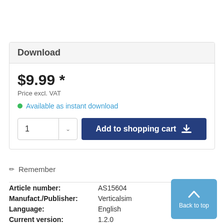Download
$9.99 *
Price excl. VAT
Available as instant download
1  Add to shopping cart
Remember
| Field | Value |
| --- | --- |
| Article number: | AS15604 |
| Manufact./Publisher: | Verticalsim |
| Language: | English |
| Current version: | 1.2.0 |
Back to top